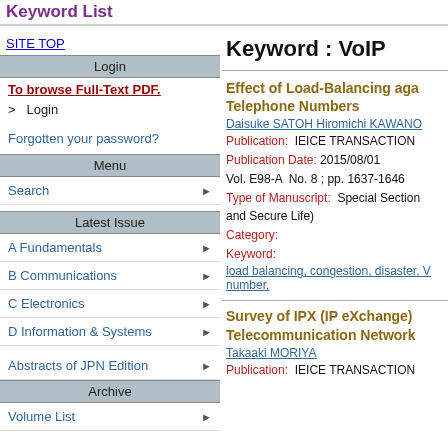Keyword List
SITE TOP
Login
To browse Full-Text PDF.
> Login
Forgotten your password?
Menu
Search
Latest Issue
A Fundamentals
B Communications
C Electronics
D Information & Systems
Abstracts of JPN Edition
Archive
Volume List
Keyword : VoIP
Effect of Load-Balancing against Congestion of Telephone Numbers
Daisuke SATOH Hiromichi KAWANO
Publication: IEICE TRANSACTIONS
Publication Date: 2015/08/01
Vol. E98-A No. 8 ; pp. 1637-1646
Type of Manuscript: Special Section and Secure Life)
Category:
Keyword:
load balancing, congestion, disaster, V... number,
Survey of IPX (IP eXchange) Telecommunication Network
Takaaki MORIYA
Publication: IEICE TRANSACTIONS